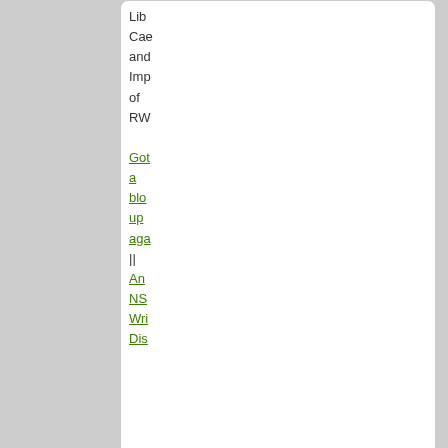Lib
Cae
and
Imp
of
RW
Got a blog up again
||
An NS Wri Dis
[Figure (illustration): Flag of Macedonia (former Yugoslav Republic) - blue background with golden sun having 16 rays, representing the Sun of Vergina]
Minoa
Negotiator
Posts: 5042
Founded: Oct 05, 2011
Civil Rights Lovefest
QUOTE
by Minoa
» Tue Feb 07, 2017 3:21 am